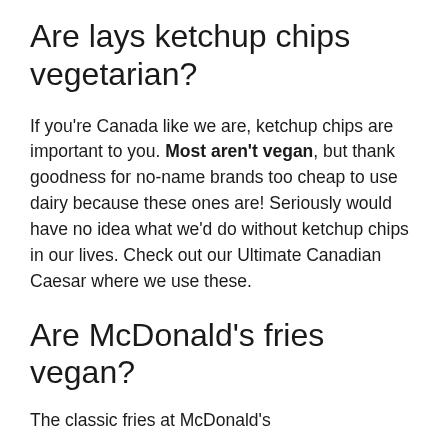Are lays ketchup chips vegetarian?
If you're Canada like we are, ketchup chips are important to you. Most aren't vegan, but thank goodness for no-name brands too cheap to use dairy because these ones are! Seriously would have no idea what we'd do without ketchup chips in our lives. Check out our Ultimate Canadian Caesar where we use these.
Are McDonald's fries vegan?
The classic fries at McDonald's